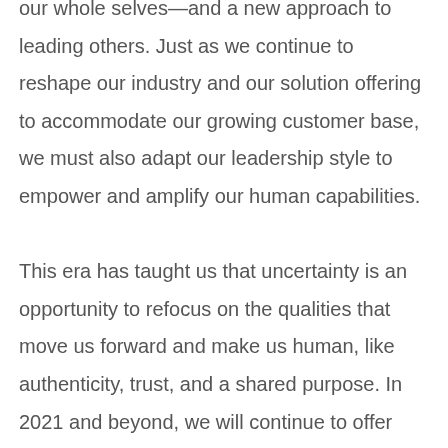our whole selves—and a new approach to leading others. Just as we continue to reshape our industry and our solution offering to accommodate our growing customer base, we must also adapt our leadership style to empower and amplify our human capabilities.

This era has taught us that uncertainty is an opportunity to refocus on the qualities that move us forward and make us human, like authenticity, trust, and a shared purpose. In 2021 and beyond, we will continue to offer